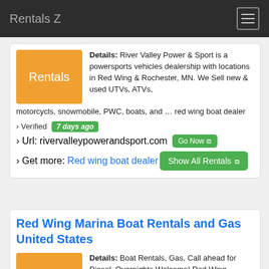Rentals Z
Details: River Valley Power & Sport is a powersports vehicles dealership with locations in Red Wing & Rochester, MN. We Sell new & used UTVs, ATVs, motorcycls, snowmobile, PWC, boats, and … red wing boat dealer
› Verified 7 days ago
› Url: rivervalleypowerandsport.com Go Now
› Get more: Red wing boat dealer    Show All Rentals
Red Wing Marina Boat Rentals and Gas United States
Details: Boat Rentals, Gas, Call ahead for Diesel, Overnights Welcome! Red Wing Marina: The Friendliest Marina on the